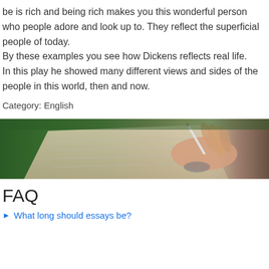be is rich and being rich makes you this wonderful person who people adore and look up to. They reflect the superficial people of today.
By these examples you see how Dickens reflects real life.
In this play he showed many different views and sides of the people in this world, then and now.
Category: English
[Figure (photo): A person writing in a notebook outdoors on grass, hand holding a pen over an open notebook]
FAQ
What long should essays be?